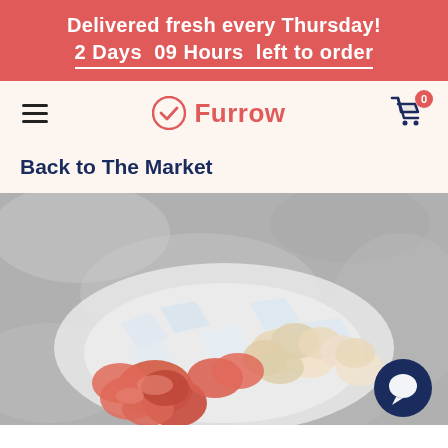Delivered fresh every Thursday! 2 Days 09 Hours left to order
[Figure (logo): Furrow grocery delivery app logo with hamburger menu and shopping cart]
Back to The Market
[Figure (photo): Fresh seafood pieces — salmon and scallops — arranged on crushed ice, on a gray stone background. A dark navy blue chat button is visible in the bottom right corner.]